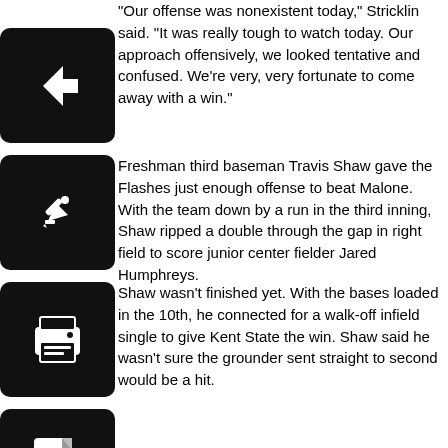“Our offense was nonexistent today,” Stricklin said. “It was really tough to watch today. Our approach offensively, we looked tentative and confused. We’re very, very fortunate to come away with a win.”
Freshman third baseman Travis Shaw gave the Flashes just enough offense to beat Malone. With the team down by a run in the third inning, Shaw ripped a double through the gap in right field to score junior center fielder Jared Humphreys.
Shaw wasn’t finished yet. With the bases loaded in the 10th, he connected for a walk-off infield single to give Kent State the win. Shaw said he wasn’t sure the grounder sent straight to second would be a hit.
“I thought he was going to be able to get to it and step on second,” he said. “It got through, thank goodness.”
Before the 10th inning, the game was mostly a pitchers’ duel. Four Malone pitchers combined to limit the Flashes to six hits in the first six innings. Losing pitcher senior Ryan Hartong held Kent State to just one hit in the three innings prior to the 10th.
Kent State’s hurlers were not to be outdone. Led by Chafin, five pitchers scattered six hits for two runs. Freshman lefty David Starn needed only six pitches to retire Malone in order in the